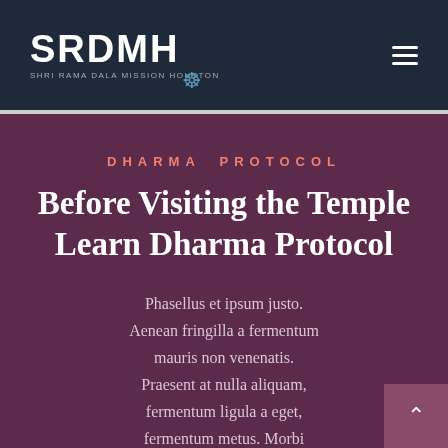SRDMH - SHRI RAMA DALA MISSION HOUSTON
DHARMA PROTOCOL
Before Visiting the Temple Learn Dharma Protocol
Phasellus et ipsum justo. Aenean fringilla a fermentum mauris non venenatis. Praesent at nulla aliquam, fermentum ligula a eget, fermentum metus. Morbi